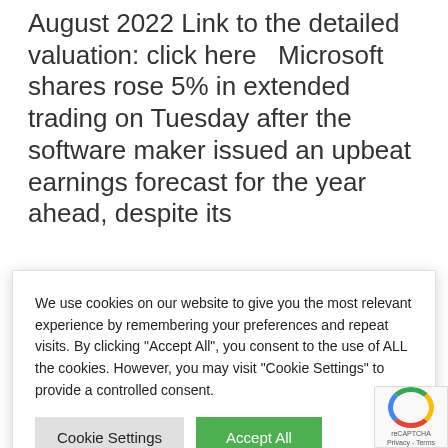August 2022 Link to the detailed valuation: click here   Microsoft shares rose 5% in extended trading on Tuesday after the software maker issued an upbeat earnings forecast for the year ahead, despite its
We use cookies on our website to give you the most relevant experience by remembering your preferences and repeat visits. By clicking “Accept All”, you consent to the use of ALL the cookies. However, you may visit "Cookie Settings" to provide a controlled consent.
Potentially undervalued: Magnit PJSC
Magnit PJSC Weekly Valuation  - Valutico | 29